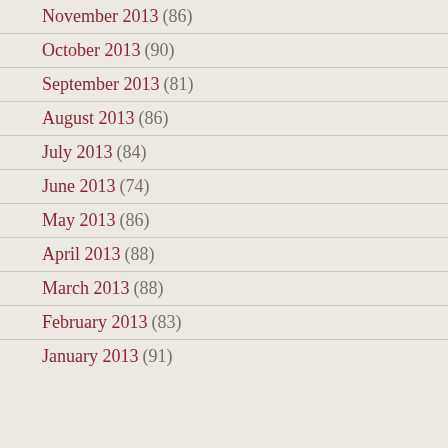November 2013 (86)
October 2013 (90)
September 2013 (81)
August 2013 (86)
July 2013 (84)
June 2013 (74)
May 2013 (86)
April 2013 (88)
March 2013 (88)
February 2013 (83)
January 2013 (91)